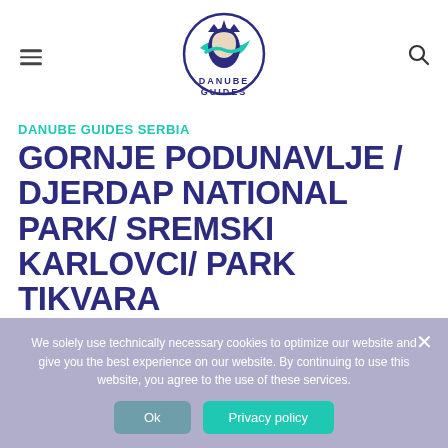[Figure (logo): Danube Guides logo — a stylized figure with teal and dark blue colors, circular badge with a woman's profile and crown, text DANUBE GUIDES below]
DANUBE GUIDES SERBIA
GORNJE PODUNAVLJE / DJERDAP NATIONAL PARK/ SREMSKI KARLOVCI/ PARK TIKVARA
We solely use technically necessary cookies to optimize our website and give you the best experience on our website. By continuing to use this website, you agree to the use of these services.